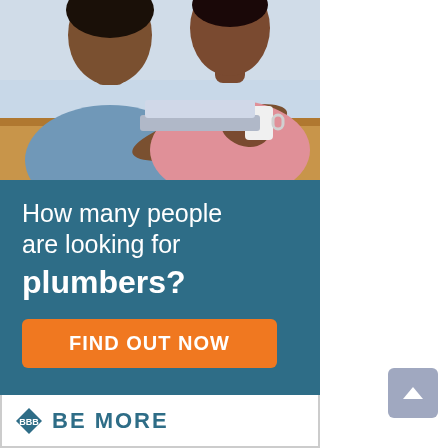[Figure (photo): Two people (a man and a woman) sitting at a table looking at a tablet device. The woman is holding a white coffee mug. Warm wood table surface visible.]
How many people are looking for plumbers?
FIND OUT NOW
[Figure (logo): BBB (Better Business Bureau) logo with text BE MORE]